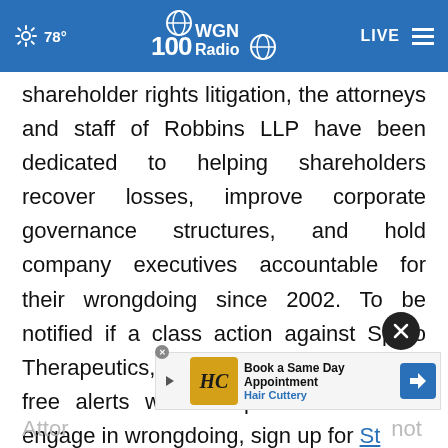78° WGN Radio LIVE
shareholder rights litigation, the attorneys and staff of Robbins LLP have been dedicated to helping shareholders recover losses, improve corporate governance structures, and hold company executives accountable for their wrongdoing since 2002. To be notified if a class action against Spero Therapeutics, Inc. settles or to receive free alerts when corporate executives engage in wrongdoing, sign up for StockWatch today.
[Figure (screenshot): Hair Cuttery advertisement banner: Book a Same Day Appointment, Hair Cuttery, with logo and navigation arrow icon]
Attorney Advertising. Past results do not